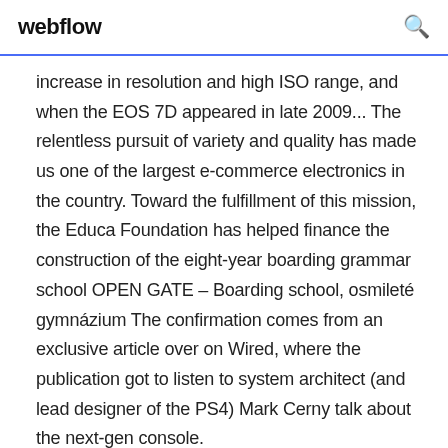webflow
increase in resolution and high ISO range, and when the EOS 7D appeared in late 2009... The relentless pursuit of variety and quality has made us one of the largest e-commerce electronics in the country. Toward the fulfillment of this mission, the Educa Foundation has helped finance the construction of the eight-year boarding grammar school OPEN GATE – Boarding school, osmileté gymnázium The confirmation comes from an exclusive article over on Wired, where the publication got to listen to system architect (and lead designer of the PS4) Mark Cerny talk about the next-gen console.